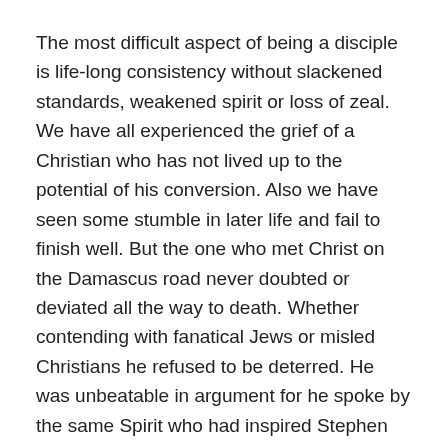The most difficult aspect of being a disciple is life-long consistency without slackened standards, weakened spirit or loss of zeal. We have all experienced the grief of a Christian who has not lived up to the potential of his conversion. Also we have seen some stumble in later life and fail to finish well. But the one who met Christ on the Damascus road never doubted or deviated all the way to death. Whether contending with fanatical Jews or misled Christians he refused to be deterred. He was unbeatable in argument for he spoke by the same Spirit who had inspired Stephen when confounding his accusers. Indeed, a careful analysis of Paul's reasoning against Christ-resistant Judaism is mostly an expansion of Stephen's defense.
Paul took every opportunity to learn all that he could from Luke, who was not only a faithful traveling companion but